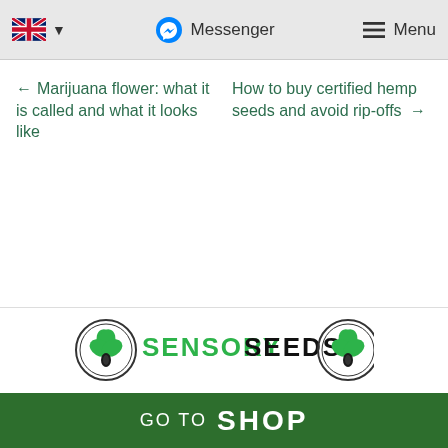🇬🇧 ▾  Messenger  ☰ Menu
← Marijuana flower: what it is called and what it looks like
How to buy certified hemp seeds and avoid rip-offs →
[Figure (logo): Sensory Seeds logo with circular plant emblems on each side, green text SENSORY and black text SEEDS]
GO TO  SHOP